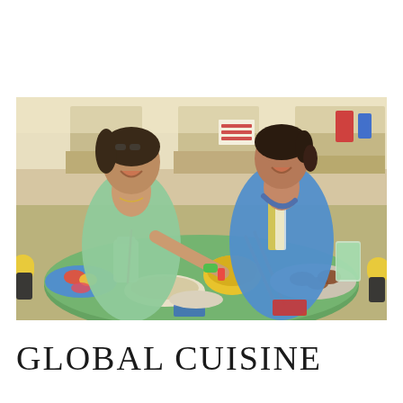[Figure (photo): Two young Asian women laughing and eating together at a hawker centre or food court. A large round green table is covered with many dishes including satay, noodles, fruit, and drinks. The woman on the left wears a green top and the woman on the right wears a blue and yellow sleeveless top and uses chopsticks. The background shows a busy food stall environment.]
GLOBAL CUISINE